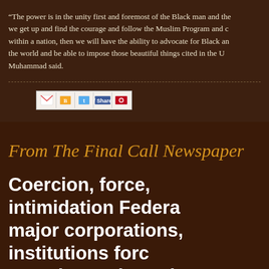“The power is in the unity first and foremost of the Black man and the we get up and find the courage and follow the Muslim Program and c within a nation, then we will have the ability to advocate for Black an the world and be able to impose those beautiful things cited in the U Muhammad said.
[Figure (other): Social media share buttons bar including Gmail, Blogger, Twitter, Facebook, and Pinterest icons]
From The Final Call Newspaper
Coercion, force, intimidation Federa major corporations, institutions forc experimental vaccines
By Anisah Muhammad, Contributing Writer